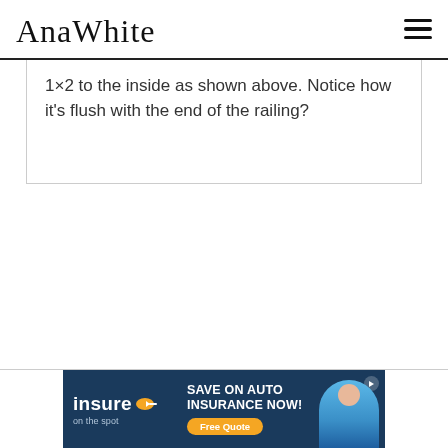AnaWhite
1×2 to the inside as shown above. Notice how it's flush with the end of the railing?
[Figure (infographic): Advertisement banner for 'insure on the spot' with text: SAVE ON AUTO INSURANCE NOW! Free Quote, featuring a woman in blue and a play button icon.]